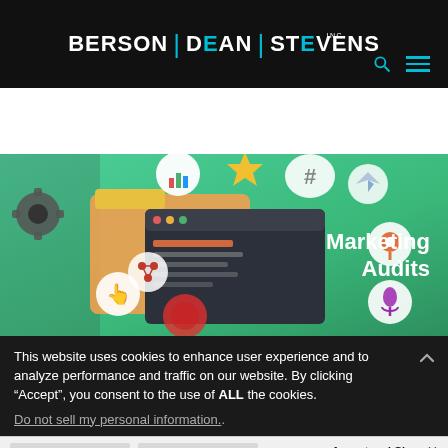BERSON | DEAN | STEVENS INC
[Figure (illustration): Marketing Audits banner image with colorful floating social media and marketing icons on a green gradient background, including gear, bar chart, hashtag, star, location pin, microphone, and a tablet/browser mockup. Text reads 'Marketing Audits' in white on the right side.]
This website uses cookies to enhance user experience and to analyze performance and traffic on our website. By clicking “Accept”, you consent to the use of ALL the cookies.
Do not sell my personal information..
Accept and Close ×
Your browser settings do not allow cross-site tracking for advertising. Click on this page to allow AdRoll to use cross-site tracking to tailor ads to you. Learn more or opt out of this AdRoll tracking by clicking here. This message only appears once.